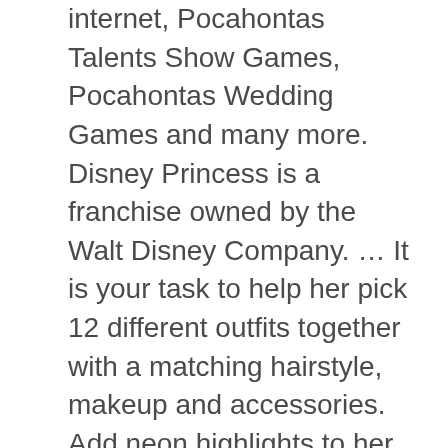internet, Pocahontas Talents Show Games, Pocahontas Wedding Games and many more. Disney Princess is a franchise owned by the Walt Disney Company. … It is your task to help her pick 12 different outfits together with a matching hairstyle, makeup and accessories. Add neon highlights to her purple hair, and check out all of the accessories. Play this game and dress up Pocahontas up and arm her with a bow, a sword, or something else. She is the daughter of Chief Powhatan, the leader of a Native American tribe in Virginia. Go ahead and make us proud by the following stuff that you can be doing. Try your best when you will play Pocahontas Wedding Dress up. Disney's Pocahontas is a strong and beautiful princess based on the historical figure of Pocahontas. In this game, you can dress up Pocahontas in traditional Native American clothes for her wedding, or choose enormous ballgowns. Begin by selecting a gorgeous dress for… The aim of this dress up game is to dress